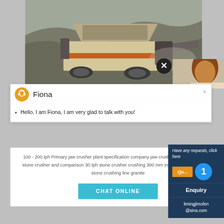[Figure (photo): Industrial jaw crusher machine on a rocky quarry site, heavy equipment with orange/cream colored body]
[Figure (photo): Person with reddish-brown hair, partial view, top-right corner]
Fiona
Hello, I am Fiona, I am very glad to talk with you!
100 - 200 tph Primary jaw crusher plant specification company jaw crusher specification Small stone crusher and comparison 30 tph stone crusher crushing 300 mm into 19 mm 50 – 400 tph stone crushing line granite
CHAT ONLINE
Have any requests, click here
Enquiry
limingjlmofen@sina.com